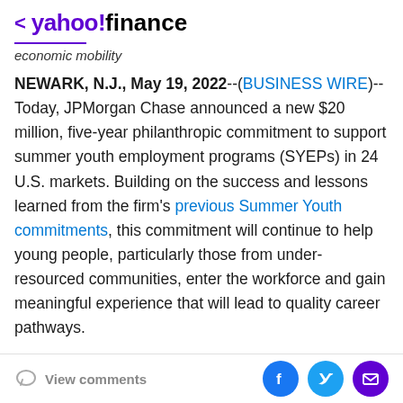< yahoo!finance
economic mobility
NEWARK, N.J., May 19, 2022--(BUSINESS WIRE)--Today, JPMorgan Chase announced a new $20 million, five-year philanthropic commitment to support summer youth employment programs (SYEPs) in 24 U.S. markets. Building on the success and lessons learned from the firm's previous Summer Youth commitments, this commitment will continue to help young people, particularly those from under-resourced communities, enter the workforce and gain meaningful experience that will lead to quality career pathways.
The commitment includes a continued focus on skills
View comments